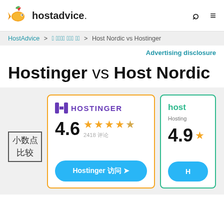hostadvice. [search icon] [menu icon]
HostAdvice > 웹 호스팅 비교 하기 > Host Nordic vs Hostinger
Advertising disclosure
Hostinger vs Host Nordic
[Figure (screenshot): Hostinger hosting provider card with rating 4.6 (2418 reviews, 4.5 stars) and a Visit Hostinger button]
[Figure (screenshot): Host Nordic hosting provider card with rating 4.9, partially visible]